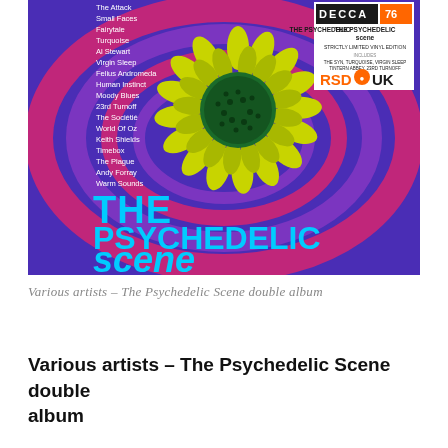[Figure (illustration): Album cover for 'The Psychedelic Scene double album'. Purple and magenta concentric circles/ovals background. Large stylized sunflower with yellow-green petals and green center in middle. Left side lists artist names in white text including The Attack, Small Faces, Fairytale, Turquoise, Al Stewart, Virgin Sleep, Felius Andromeda, Human Instinct, Moody Blues, 23rd Turnoff, The Sociétié, World Of Oz, Keith Shields, Timebox, The Plague, Andy Forray, Warm Sounds. Bottom text in large cyan: 'THE' and 'PSYCHEDELIC' and 'scene'. Top right corner has a Decca Records badge and RSD UK logo with text 'Strictly Limited Vinyl Edition includes The Syn, Turquoise, Virgin Sleep, Tintern Abbey, 23rd Turnoff'.]
Various artists – The Psychedelic Scene double album
Various artists – The Psychedelic Scene double album